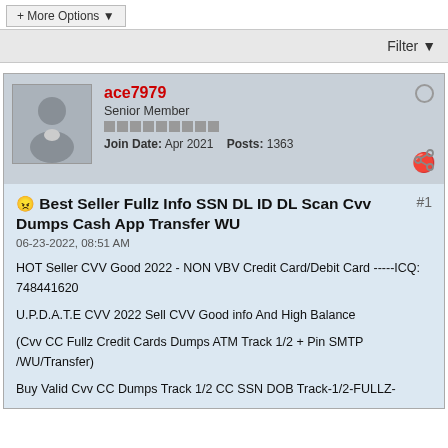+ More Options ▼
Filter ▼
ace7979
Senior Member
Join Date: Apr 2021   Posts: 1363
😠 Best Seller Fullz Info SSN DL ID DL Scan Cvv Dumps Cash App Transfer WU
06-23-2022, 08:51 AM
HOT Seller CVV Good 2022 - NON VBV Credit Card/Debit Card -----ICQ: 748441620
U.P.D.A.T.E CVV 2022 Sell CVV Good info And High Balance
(Cvv CC Fullz Credit Cards Dumps ATM Track 1/2 + Pin SMTP /WU/Transfer)
Buy Valid Cvv CC Dumps Track 1/2 CC SSN DOB Track-1/2-FULLZ-